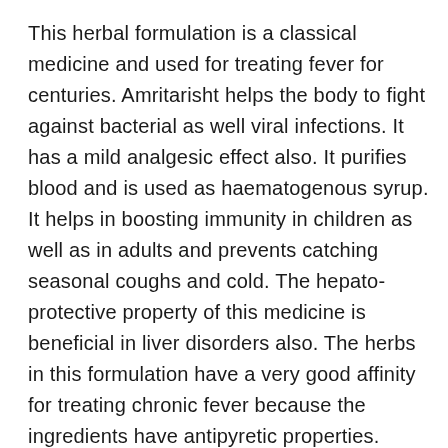This herbal formulation is a classical medicine and used for treating fever for centuries. Amritarisht helps the body to fight against bacterial as well viral infections. It has a mild analgesic effect also. It purifies blood and is used as haematogenous syrup. It helps in boosting immunity in children as well as in adults and prevents catching seasonal coughs and cold. The hepato-protective property of this medicine is beneficial in liver disorders also. The herbs in this formulation have a very good affinity for treating chronic fever because the ingredients have antipyretic properties.